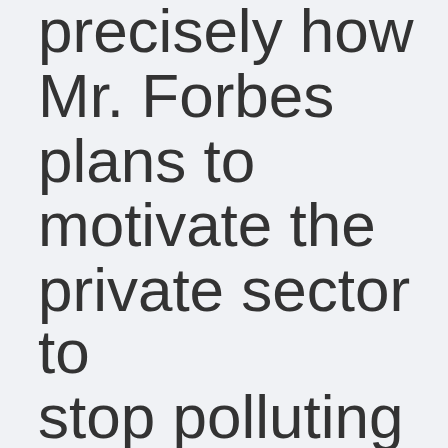precisely how Mr. Forbes plans to motivate the private sector to stop polluting